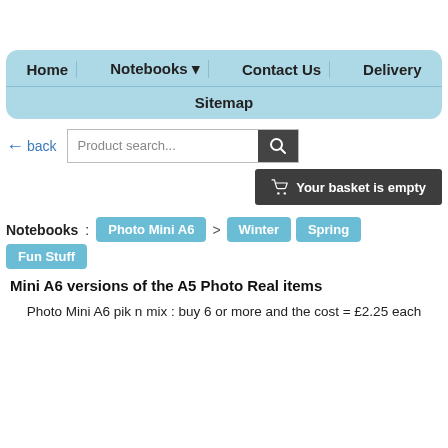Home | Notebooks ▼ | Contact Us | Delivery | Sitemap
← back
Product search...
🛒 Your basket is empty
Notebooks : Photo Mini A6 > Winter  Spring  Fun Stuff
Mini A6 versions of the A5 Photo Real items
Photo Mini A6 pik n mix : buy 6 or more and the cost = £2.25 each